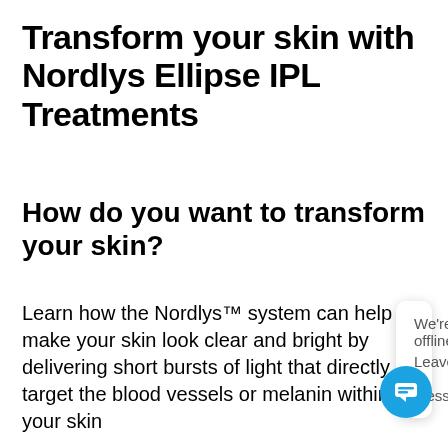Transform your skin with Nordlys Ellipse IPL Treatments
How do you want to transform your skin?
Learn how the Nordlys™ system can help make your skin look clear and bright by delivering short bursts of light that directly target the blood vessels or melanin within your skin
[Figure (screenshot): Chat widget overlay showing 'We're offline' and 'Leave a message' text with a circular blue chat button icon]